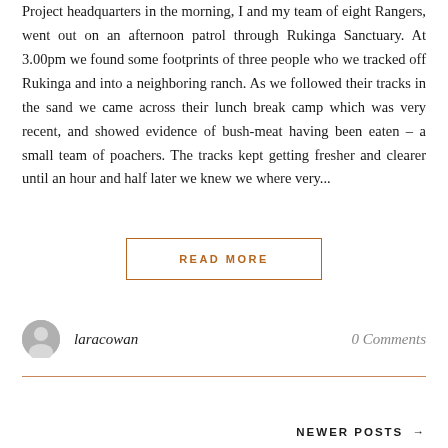Project headquarters in the morning, I and my team of eight Rangers, went out on an afternoon patrol through Rukinga Sanctuary. At 3.00pm we found some footprints of three people who we tracked off Rukinga and into a neighboring ranch. As we followed their tracks in the sand we came across their lunch break camp which was very recent, and showed evidence of bush-meat having been eaten – a small team of poachers. The tracks kept getting fresher and clearer until an hour and half later we knew we where very...
READ MORE
laracowan
0 Comments
NEWER POSTS →